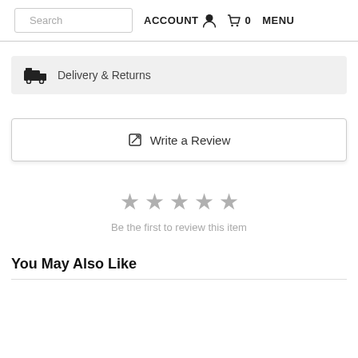Search  ACCOUNT  0  MENU
Delivery & Returns
Write a Review
[Figure (other): Five empty star rating icons indicating no reviews yet]
Be the first to review this item
You May Also Like